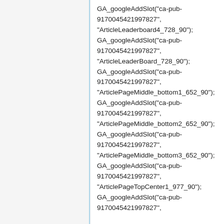GA_googleAddSlot("ca-pub-9170045421997827", "ArticleLeaderboard4_728_90"); GA_googleAddSlot("ca-pub-9170045421997827", "ArticleLeaderBoard_728_90"); GA_googleAddSlot("ca-pub-9170045421997827", "ArticlePageMiddle_bottom1_652_90"); GA_googleAddSlot("ca-pub-9170045421997827", "ArticlePageMiddle_bottom2_652_90"); GA_googleAddSlot("ca-pub-9170045421997827", "ArticlePageMiddle_bottom3_652_90"); GA_googleAddSlot("ca-pub-9170045421997827", "ArticlePageTopCenter1_977_90"); GA_googleAddSlot("ca-pub-9170045421997827",